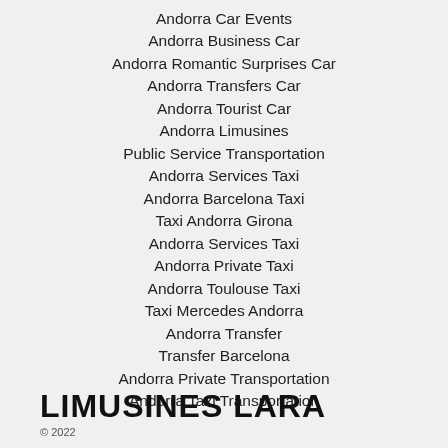Andorra Car Events
Andorra Business Car
Andorra Romantic Surprises Car
Andorra Transfers Car
Andorra Tourist Car
Andorra Limusines
Public Service Transportation
Andorra Services Taxi
Andorra Barcelona Taxi
Taxi Andorra Girona
Andorra Services Taxi
Andorra Private Taxi
Andorra Toulouse Taxi
Taxi Mercedes Andorra
Andorra Transfer
Transfer Barcelona
Andorra Private Transportation
Andorra Taxi Transportation
LIMUSINES LARA
© 2022